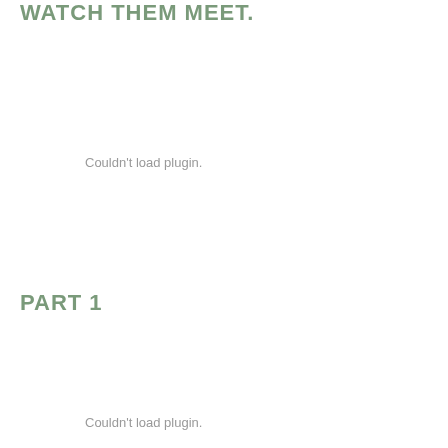WATCH THEM MEET.
[Figure (other): Embedded plugin/media content placeholder showing 'Couldn't load plugin.']
PART 1
[Figure (other): Embedded plugin/media content placeholder showing 'Couldn't load plugin.']